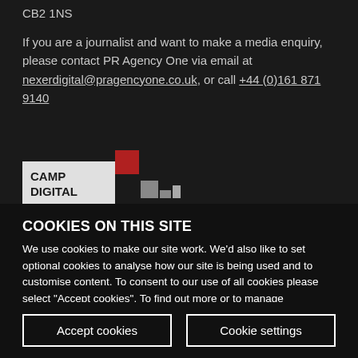CB2 1NS
If you are a journalist and want to make a media enquiry, please contact PR Agency One via email at nexerdigital@pragencyone.co.uk, or call +44 (0)161 871 9140
[Figure (logo): Camp Digital logo with red and grey geometric shapes]
COOKIES ON THIS SITE
We use cookies to make our site work. We'd also like to set optional cookies to analyse how our site is being used and to customise content. To consent to our use of all cookies please select "Accept cookies". To find out more or to manage preferences please select "Cookie settings".
Accept cookies
Cookie settings